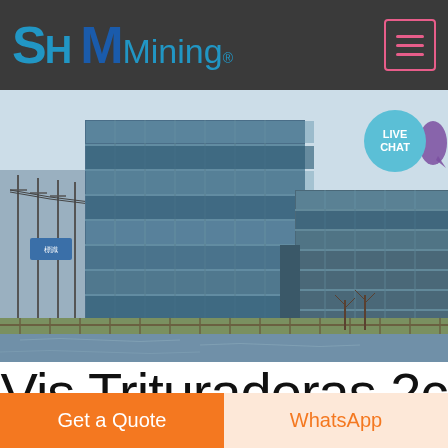SH MMining
[Figure (photo): Exterior photo of a large modern glass-facade industrial or corporate building complex with blue glazing, reflected sky, power lines on the left, a river or lake in the foreground, and bare trees to the right.]
Vis Trituradoras 2c
Get a Quote
WhatsApp